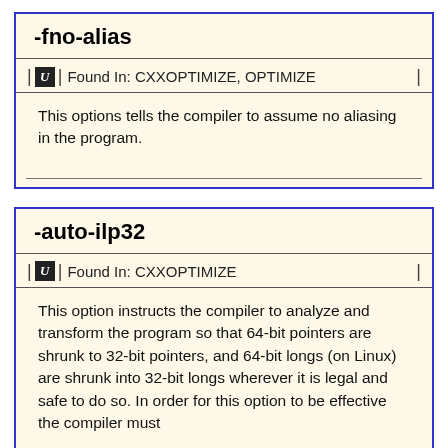-fno-alias
Found In: CXXOPTIMIZE, OPTIMIZE
This options tells the compiler to assume no aliasing in the program.
-auto-ilp32
Found In: CXXOPTIMIZE
This option instructs the compiler to analyze and transform the program so that 64-bit pointers are shrunk to 32-bit pointers, and 64-bit longs (on Linux) are shrunk into 32-bit longs wherever it is legal and safe to do so. In order for this option to be effective the compiler must